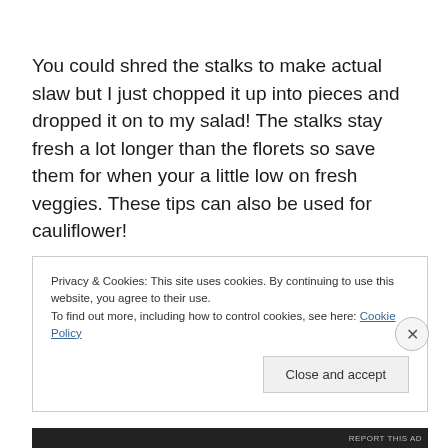You could shred the stalks to make actual slaw but I just chopped it up into pieces and dropped it on to my salad! The stalks stay fresh a lot longer than the florets so save them for when your a little low on fresh veggies. These tips can also be used for cauliflower!
Privacy & Cookies: This site uses cookies. By continuing to use this website, you agree to their use. To find out more, including how to control cookies, see here: Cookie Policy
Close and accept
REPORT THIS AD